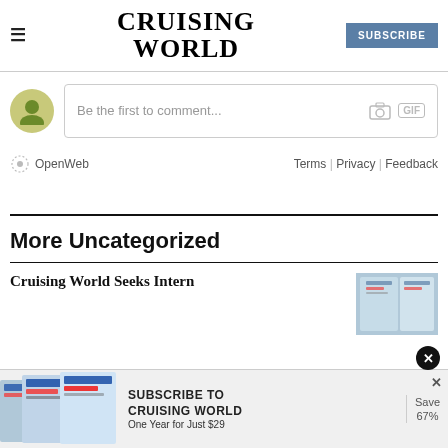CRUISING WORLD | SUBSCRIBE
Be the first to comment...
OpenWeb | Terms | Privacy | Feedback
More Uncategorized
Cruising World Seeks Intern
[Figure (screenshot): Subscribe to Cruising World advertisement banner with magazine covers, text: SUBSCRIBE TO CRUISING WORLD One Year for Just $29, Save 67%]